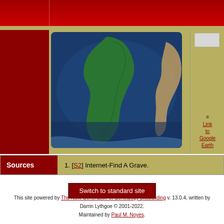[Figure (map): Satellite map showing South America and surrounding oceans]
= Link to Google Earth
| Sources | 1. [S2] Internet-Find A Grave. |
| --- | --- |
Switch to standard site
This site powered by The Next Generation of Genealogy Sitebuilding v. 13.0.4, written by Darrin Lythgoe © 2001-2022. Maintained by Paul M. Noyes.